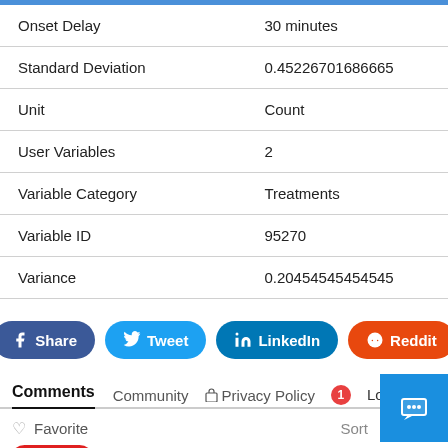| Property | Value |
| --- | --- |
| Onset Delay | 30 minutes |
| Standard Deviation | 0.45226701686665 |
| Unit | Count |
| User Variables | 2 |
| Variable Category | Treatments |
| Variable ID | 95270 |
| Variance | 0.20454545454545 |
[Figure (infographic): Social share buttons: Facebook Share, Twitter Tweet, LinkedIn, Reddit]
Comments  Community  Privacy Policy  1  Login
Favorite  Sort
Start the discussion